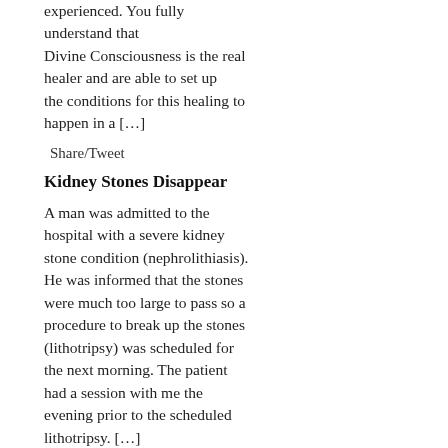experienced. You fully understand that Divine Consciousness is the real healer and are able to set up the conditions for this healing to happen in a […]
Comments are closed.
Share/Tweet
Kidney Stones Disappear
A man was admitted to the hospital with a severe kidney stone condition (nephrolithiasis). He was informed that the stones were much too large to pass so a procedure to break up the stones (lithotripsy) was scheduled for the next morning. The patient had a session with me the evening prior to the scheduled lithotripsy. […]
Share/Tweet
Buddha at the Gas Pump